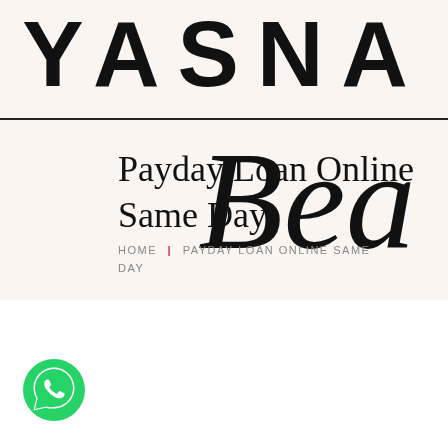YASNA
[Figure (logo): Beauty script watermark/logo overlapping the header area]
Payday Loan Online
Same Day
HOME | PAYDAY LOAN ONLINE SAME DAY
[Figure (logo): WhatsApp green circular icon in the bottom left corner]